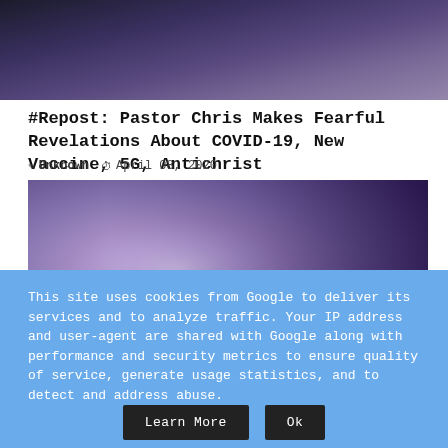[Figure (photo): Top cropped photo of a person in a dark suit holding a tablet/book, with purple/dark stage background]
#Repost: Pastor Chris Makes Fearful Revelations About COVID-19, New Vaccine, 5G, Antichrist
Unknown   April 08, 2020
[Figure (photo): Photo of a man in a purple suit with a pink tie and pocket square, speaking at a microphone on a stage with people in background]
This site uses cookies from Google to deliver its services and to analyze traffic. Your IP address and user-agent are shared with Google along with performance and security metrics to ensure quality of service, generate usage statistics, and to detect and address abuse.
Learn More   Ok